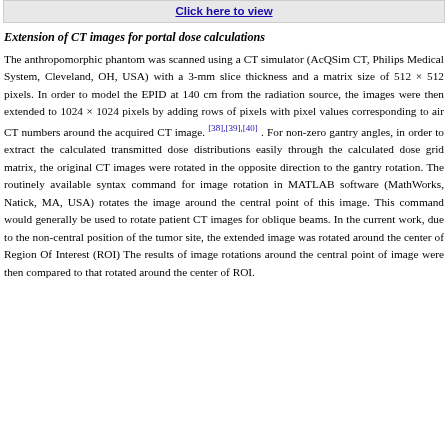[Figure (other): Gray banner with 'Click here to view' hyperlink]
Extension of CT images for portal dose calculations
The anthropomorphic phantom was scanned using a CT simulator (AcQSim CT, Philips Medical System, Cleveland, OH, USA) with a 3-mm slice thickness and a matrix size of 512 × 512 pixels. In order to model the EPID at 140 cm from the radiation source, the images were then extended to 1024 × 1024 pixels by adding rows of pixels with pixel values corresponding to air CT numbers around the acquired CT image. [38],[39],[40] . For non-zero gantry angles, in order to extract the calculated transmitted dose distributions easily through the calculated dose grid matrix, the original CT images were rotated in the opposite direction to the gantry rotation. The routinely available syntax command for image rotation in MATLAB software (MathWorks, Natick, MA, USA) rotates the image around the central point of this image. This command would generally be used to rotate patient CT images for oblique beams. In the current work, due to the non-central position of the tumor site, the extended image was rotated around the center of Region Of Interest (ROI) The results of image rotations around the central point of image were then compared to that rotated around the center of ROI.